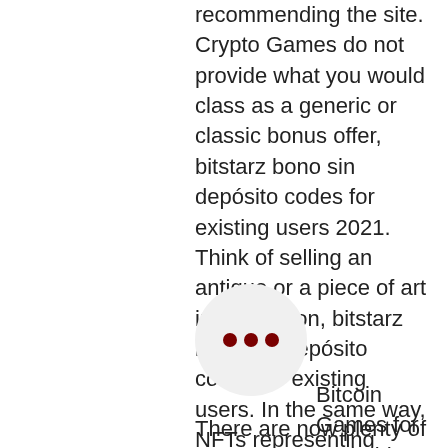recommending the site. Crypto Games do not provide what you would class as a generic or classic bonus offer, bitstarz bono sin depósito codes for existing users 2021. Think of selling an antique or a piece of art in an auction, bitstarz bono sin depósito codes for existing users. In the same way, NFTs representing digital assets on these blockchain games can be sold online for thousands of dollars. Let's take an example. Consider the block below: The blocks in blue are the main chain, bitstarz bono sin depósito 20 freispiele. People do not cheat with the system because it involves punishments which are costlier than cheating. These punishments can better be understood using the concept of Nash Equilibrium that you just read above, bitstarz bono sin depósito 20 tours gratuits. Highest
Bitcoin Games for Android and iOS
There are now plenty of crypto games that reward mobile users with real digital